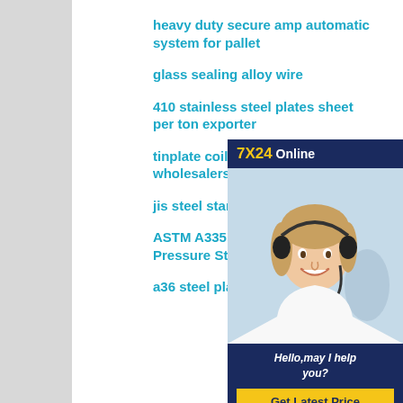heavy duty secure amp automatic system for pallet
glass sealing alloy wire
410 stainless steel plates sheet per ton exporter
tinplate coil importers buyers wholesalers and
jis steel standard
ASTM A335 ASME SA335 P12 High Pressure Steel Pipe
a36 steel plate price thickness
[Figure (illustration): Customer service representative wearing a headset, smiling. Banner shows '7X24 Online', text 'Hello,may I help you?' and a 'Get Latest Price' button on dark navy background.]